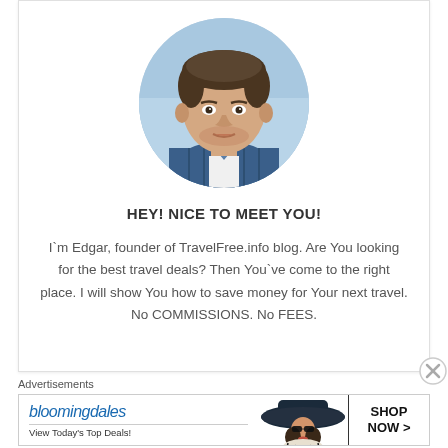[Figure (photo): Circular profile photo of a young man (Edgar) with short brown hair, wearing a blue plaid shirt, photographed against a blue sky background]
HEY! NICE TO MEET YOU!
I`m Edgar, founder of TravelFree.info blog. Are You looking for the best travel deals? Then You`ve come to the right place. I will show You how to save money for Your next travel. No COMMISSIONS. No FEES.
Advertisements
[Figure (screenshot): Bloomingdale's advertisement banner: logo on left with 'View Today's Top Deals!' tagline, woman in wide-brim hat in center, 'SHOP NOW >' button on right]